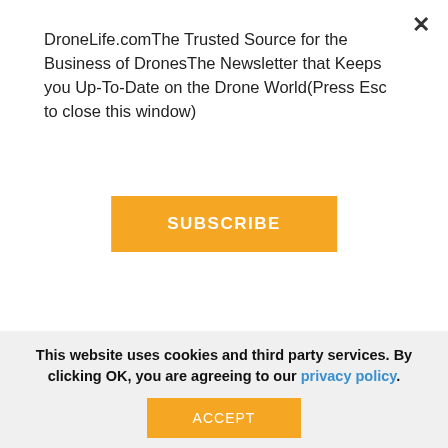DroneLife.comThe Trusted Source for the Business of DronesThe Newsletter that Keeps you Up-To-Date on the Drone World(Press Esc to close this window)
SUBSCRIBE
charging battery deal...
“Working hand-in-hand with a logistics provider gave our engineers invaluable insights into how our customers will interact with the drone platform and allowed us to design the RDSX from the bottom up for the unique demands of commercial UAV deliveries,” said Zhang. “Based on an extremely robust flight platform with hundreds of
This website uses cookies and third party services. By clicking OK, you are agreeing to our privacy policy.
ACCEPT